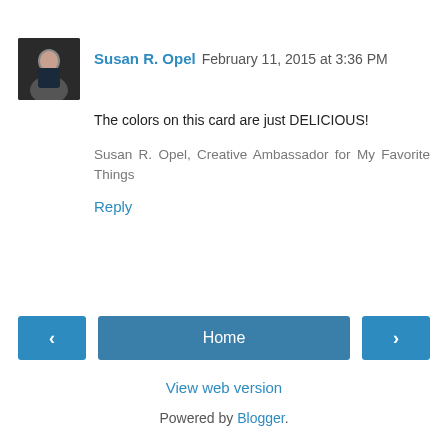Susan R. Opel  February 11, 2015 at 3:36 PM
The colors on this card are just DELICIOUS!
Susan R. Opel, Creative Ambassador for My Favorite Things
Reply
Home
View web version
Powered by Blogger.